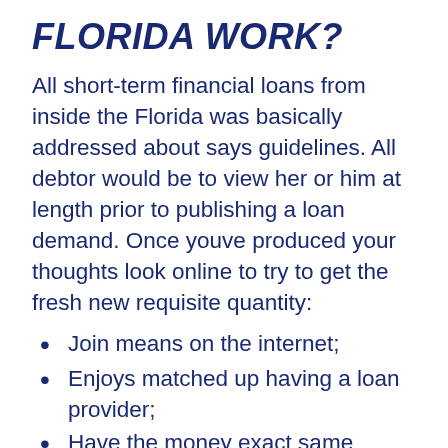FLORIDA WORK?
All short-term financial loans from inside the Florida was basically addressed about says guidelines. All debtor would be to view her or him at length prior to publishing a loan demand. Once youve produced your thoughts look online to try to get the fresh new requisite quantity:
Join means on the internet;
Enjoys matched up having a loan provider;
Have the money exact same